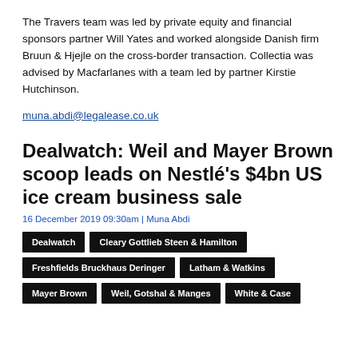The Travers team was led by private equity and financial sponsors partner Will Yates and worked alongside Danish firm Bruun & Hjejle on the cross-border transaction. Collectia was advised by Macfarlanes with a team led by partner Kirstie Hutchinson.
muna.abdi@legalease.co.uk
Dealwatch: Weil and Mayer Brown scoop leads on Nestlé's $4bn US ice cream business sale
16 December 2019 09:30am | Muna Abdi
Dealwatch
Cleary Gottlieb Steen & Hamilton
Freshfields Bruckhaus Deringer
Latham & Watkins
Mayer Brown
Weil, Gotshal & Manges
White & Case